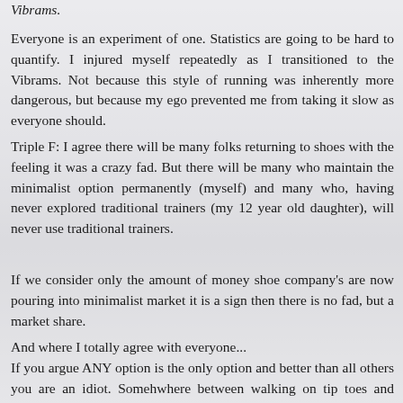Vibrams.
Everyone is an experiment of one. Statistics are going to be hard to quantify. I injured myself repeatedly as I transitioned to the Vibrams. Not because this style of running was inherently more dangerous, but because my ego prevented me from taking it slow as everyone should.
Triple F: I agree there will be many folks returning to shoes with the feeling it was a crazy fad. But there will be many who maintain the minimalist option permanently (myself) and many who, having never explored traditional trainers (my 12 year old daughter), will never use traditional trainers.
If we consider only the amount of money shoe company's are now pouring into minimalist market it is a sign then there is no fad, but a market share.
And where I totally agree with everyone...
If you argue ANY option is the only option and better than all others you are an idiot. Somehwhere between walking on tip toes and wearing a ski boot to run in there are a